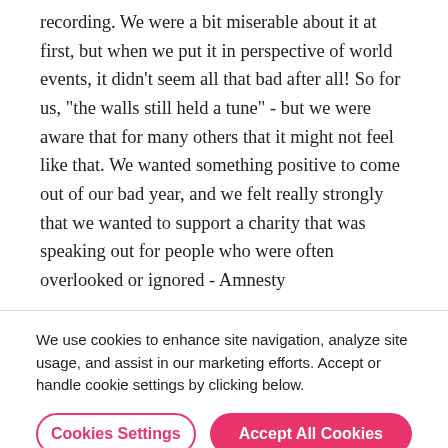recording. We were a bit miserable about it at first, but when we put it in perspective of world events, it didn't seem all that bad after all! So for us, "the walls still held a tune" - but we were aware that for many others that it might not feel like that. We wanted something positive to come out of our bad year, and we felt really strongly that we wanted to support a charity that was speaking out for people who were often overlooked or ignored - Amnesty
We use cookies to enhance site navigation, analyze site usage, and assist in our marketing efforts. Accept or handle cookie settings by clicking below.
Cookies Settings
Accept All Cookies